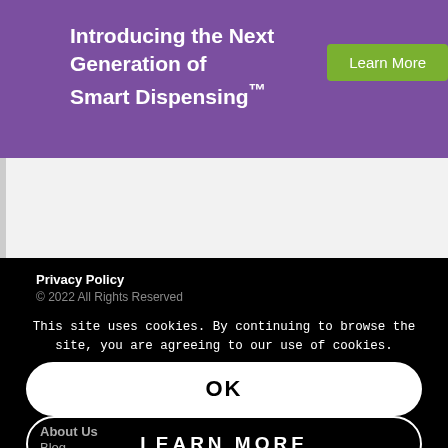Introducing the Next Generation of Smart Dispensing™
Learn More
[Figure (other): Light gray/white content area below purple banner]
Privacy Policy
© 2022 All Rights Reserved
This site uses cookies. By continuing to browse the site, you are agreeing to our use of cookies.
OK
About Us
Blog
LEARN MORE